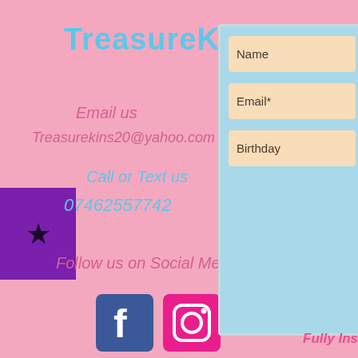TreasureKinS
Email us
Treasurekins20@yahoo.com
Call or Text us
07462557742
Follow us on Social Media
[Figure (infographic): Purple square block with a black star icon on the left edge of the page]
[Figure (infographic): Light blue contact form panel on the right with three beige input fields labeled Name, Email*, and Birthday]
[Figure (infographic): Facebook icon (blue square with white f) and Instagram icon (pink square with camera outline) social media buttons]
Fully Ins